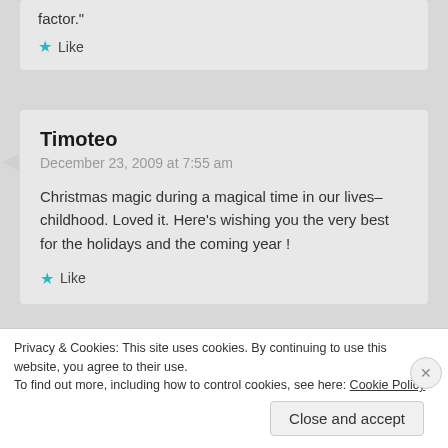factor."
Like
Timoteo
December 23, 2009 at 7:55 am
Christmas magic during a magical time in our lives–childhood. Loved it. Here's wishing you the very best for the holidays and the coming year !
Like
Privacy & Cookies: This site uses cookies. By continuing to use this website, you agree to their use.
To find out more, including how to control cookies, see here: Cookie Policy
Close and accept